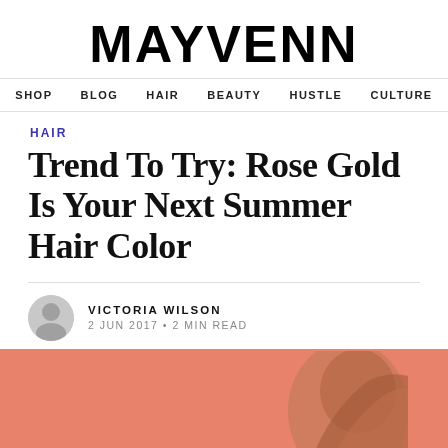MAYVENN
SHOP  BLOG  HAIR  BEAUTY  HUSTLE  CULTURE
HAIR
Trend To Try: Rose Gold Is Your Next Summer Hair Color
VICTORIA WILSON
2 JUN 2017 • 2 MIN READ
[Figure (photo): Rose-salmon colored background with partial view of a person with rose gold hair]